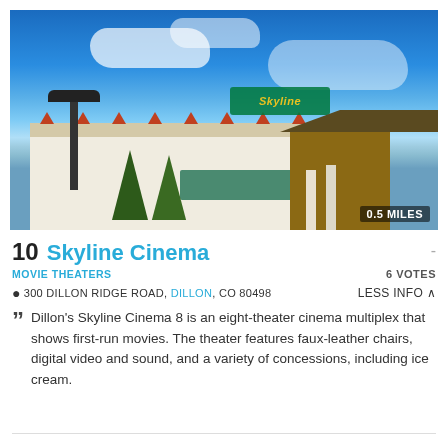[Figure (photo): Exterior photo of Skyline Cinema building with blue sky, green trees, and a wooden entrance canopy. Distance badge shows 0.5 MILES.]
10 Skyline Cinema
MOVIE THEATERS
6 VOTES
300 DILLON RIDGE ROAD, DILLON, CO 80498
Less Info
Dillon's Skyline Cinema 8 is an eight-theater cinema multiplex that shows first-run movies. The theater features faux-leather chairs, digital video and sound, and a variety of concessions, including ice cream.